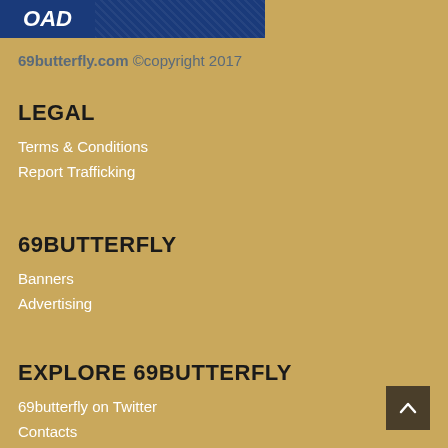[Figure (logo): Two banner images side by side: left is a blue rectangle with italic white text 'OAD', right is a blue rectangle with a textured/speckled pattern]
69butterfly.com ©copyright 2017
LEGAL
Terms & Conditions
Report Trafficking
69BUTTERFLY
Banners
Advertising
EXPLORE 69BUTTERFLY
69butterfly on Twitter
Contacts